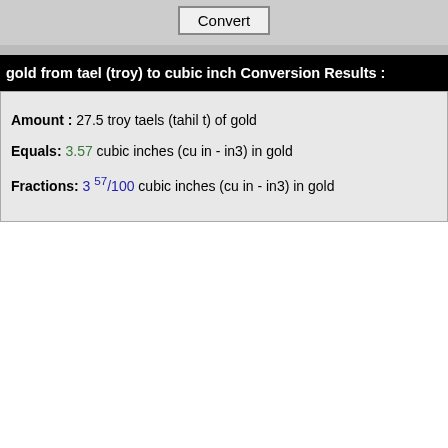gold from tael (troy) to cubic inch Conversion Results :
Amount : 27.5 troy taels (tahil t) of gold
Equals: 3.57 cubic inches (cu in - in3) in gold
Fractions: 3 57/100 cubic inches (cu in - in3) in gold